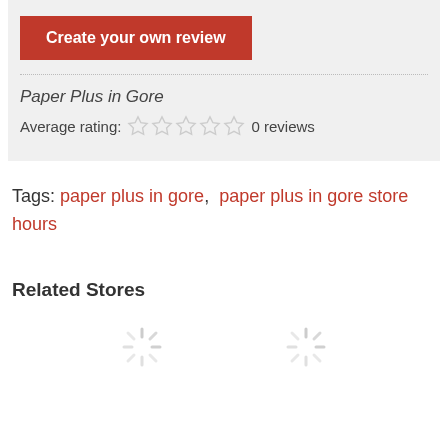Create your own review
Paper Plus in Gore
Average rating: 0 reviews
Tags: paper plus in gore, paper plus in gore store hours
Related Stores